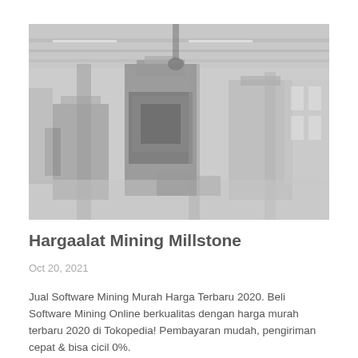[Figure (photo): Industrial factory interior showing large heavy machinery, metal presses or milling equipment, with steel framework, girders, and industrial lighting overhead. The image is faded/washed out with low contrast.]
Hargaalat Mining Millstone
Oct 20, 2021
Jual Software Mining Murah Harga Terbaru 2020. Beli Software Mining Online berkualitas dengan harga murah terbaru 2020 di Tokopedia! Pembayaran mudah, pengiriman cepat & bisa cicil 0%.